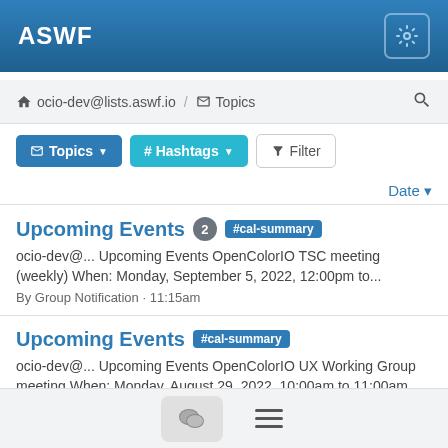ASWF
ocio-dev@lists.aswf.io / Topics
Topics  # Hashtags  Filter
Date
Upcoming Events 2 #cal-summary
ocio-dev@... Upcoming Events OpenColorIO TSC meeting (weekly) When: Monday, September 5, 2022, 12:00pm to...
By Group Notification · 11:15am
Upcoming Events #cal-summary
ocio-dev@... Upcoming Events OpenColorIO UX Working Group meeting When: Monday, August 29, 2022, 10:00am to 11:00am...
By Group Notification · Aug 26